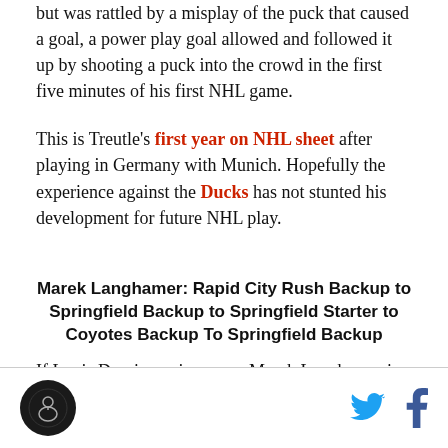but was rattled by a misplay of the puck that caused a goal, a power play goal allowed and followed it up by shooting a puck into the crowd in the first five minutes of his first NHL game.
This is Treutle's first year on NHL sheet after playing in Germany with Munich. Hopefully the experience against the Ducks has not stunted his development for future NHL play.
Marek Langhamer: Rapid City Rush Backup to Springfield Backup to Springfield Starter to Coyotes Backup To Springfield Backup
If Louis Domingue is young, Marek Langhamer is practically a baby at 21. After Treutle's disastrous